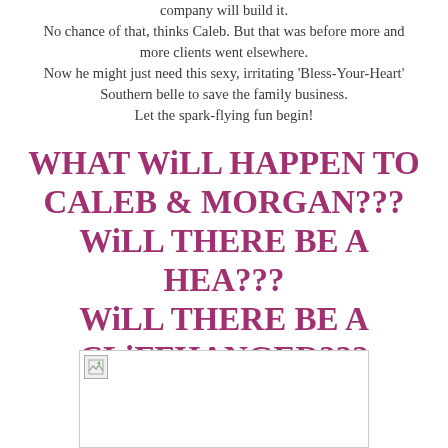company will build it.
No chance of that, thinks Caleb. But that was before more and more clients went elsewhere.
Now he might just need this sexy, irritating 'Bless-Your-Heart' Southern belle to save the family business.
Let the spark-flying fun begin!
WHAT WiLL HAPPEN TO CALEB & MORGAN??? WiLL THERE BE A HEA??? WiLL THERE BE A CLiFFHANGER???
[Figure (photo): Image placeholder with broken image icon in top-left corner, white background with light border]